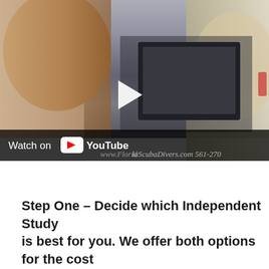[Figure (screenshot): A YouTube video thumbnail/embed showing two people in conversation — a young man on the left laughing, a blonde woman on the right smiling. A play button is visible in the center. The bottom bar reads 'Watch on YouTube' with a YouTube logo, and partially shows 'www.FloridaScubaDivers.com 561-270-...']
Step One – Decide which Independent Study is best for you. We offer both options for the cost